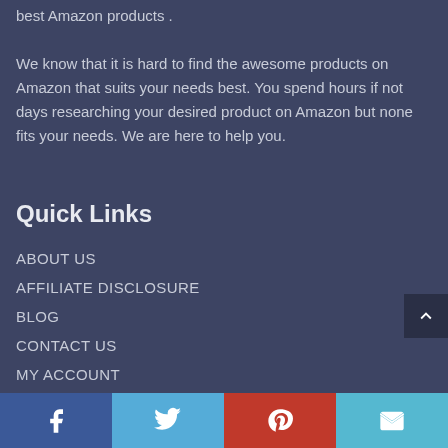best Amazon products .
We know that it is hard to find the awesome products on Amazon that suits your needs best. You spend hours if not days researching your desired product on Amazon but none fits your needs. We are here to help you.
Quick Links
ABOUT US
AFFILIATE DISCLOSURE
BLOG
CONTACT US
MY ACCOUNT
SHOP
[Figure (infographic): Social media bar with Facebook, Twitter, Pinterest, and Email icons]